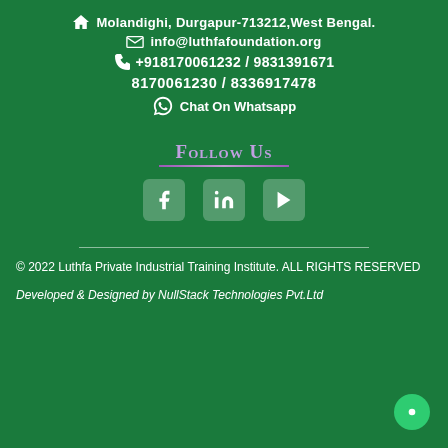Molandighi, Durgapur-713212,West Bengal.
info@luthfafoundation.org
+918170061232 / 9831391671
8170061230 / 8336917478
Chat On Whatsapp
Follow Us
[Figure (illustration): Social media icons: Facebook, LinkedIn, YouTube]
© 2022 Luthfa Private Industrial Training Institute. ALL RIGHTS RESERVED
Developed & Designed by NullStack Technologies Pvt.Ltd